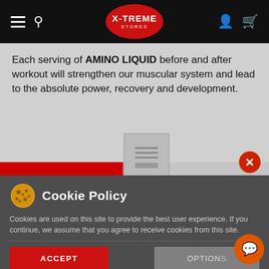[Figure (screenshot): X-TREME STORES navigation bar with hamburger menu, search icon, red oval logo, account icon and cart icon on black background]
Each serving of AMINO LIQUID before and after workout will strengthen our muscular system and lead to the absolute power, recovery and development.
[Figure (screenshot): Red horizontal bar and product thumbnail image on grey background]
Cookie Policy
Cookies are used on this site to provide the best user experience. If you continue, we assume that you agree to receive cookies from this site.
ACCEPT
OPTIONS